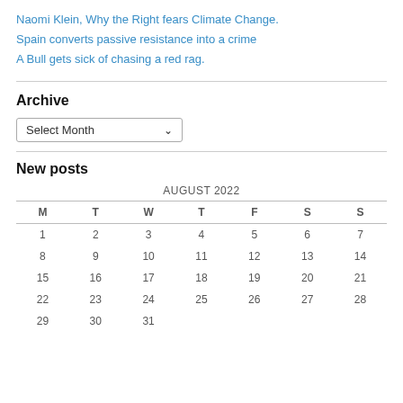Naomi Klein, Why the Right fears Climate Change.
Spain converts passive resistance into a crime
A Bull gets sick of chasing a red rag.
Archive
Select Month
New posts
| M | T | W | T | F | S | S |
| --- | --- | --- | --- | --- | --- | --- |
| 1 | 2 | 3 | 4 | 5 | 6 | 7 |
| 8 | 9 | 10 | 11 | 12 | 13 | 14 |
| 15 | 16 | 17 | 18 | 19 | 20 | 21 |
| 22 | 23 | 24 | 25 | 26 | 27 | 28 |
| 29 | 30 | 31 |  |  |  |  |